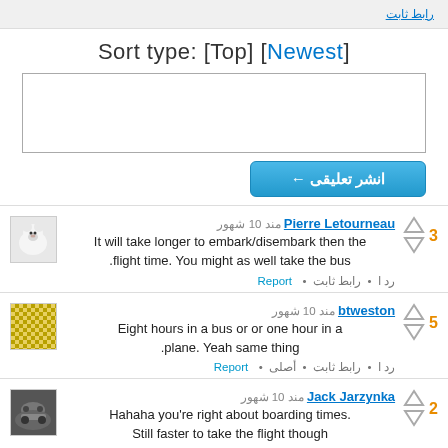رابط ثابت
Sort type: [Top] [Newest]
[Figure (screenshot): Comment text input textarea]
انشر تعليقی ←
Pierre Letourneau مند 10 شهور — It will take longer to embark/disemb​ark then the flight time. You might as well take the bus. Vote: 3
btweston مند 10 شهور — Eight hours in a bus or or one hour in a plane. Yeah same thing. Vote: 5
Jack Jarzynka مند 10 شهور — Hahaha you're right about boarding times. Still faster to take the flight though. Vote: 2